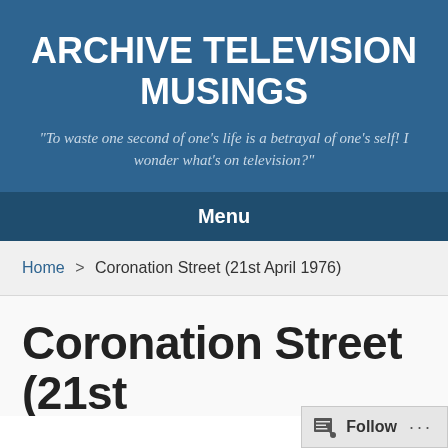ARCHIVE TELEVISION MUSINGS
"To waste one second of one's life is a betrayal of one's self! I wonder what's on television?"
Menu
Home > Coronation Street (21st April 1976)
Coronation Street (21st
Follow ...